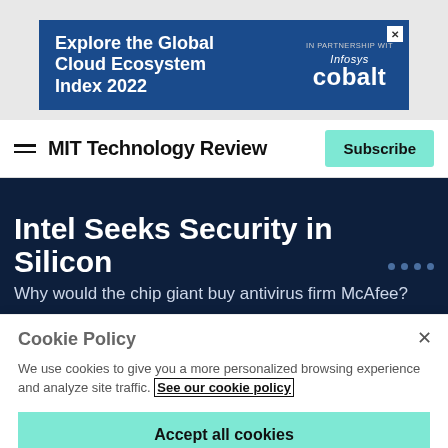[Figure (screenshot): Advertisement banner for Infosys Cobalt: 'Explore the Global Cloud Ecosystem Index 2022' with blue background and Infosys cobalt logo]
MIT Technology Review
Intel Seeks Security in Silicon
Why would the chip giant buy antivirus firm McAfee?
Cookie Policy
We use cookies to give you a more personalized browsing experience and analyze site traffic. See our cookie policy
Accept all cookies
Cookies settings